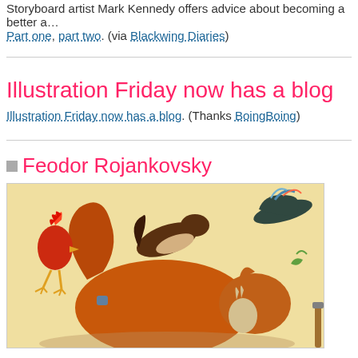Storyboard artist Mark Kennedy offers advice about becoming a better a… Part one, part two. (via Blackwing Diaries)
Illustration Friday now has a blog
Illustration Friday now has a blog. (Thanks BoingBoing)
Feodor Rojankovsky
[Figure (illustration): Colorful illustrated image by Feodor Rojankovsky showing animated animals including a red rooster, a dark weasel/stoat, a large orange fox or cat, and a small rabbit in a chaotic scene, with a flying hat and feathers in the background, on a warm beige background.]